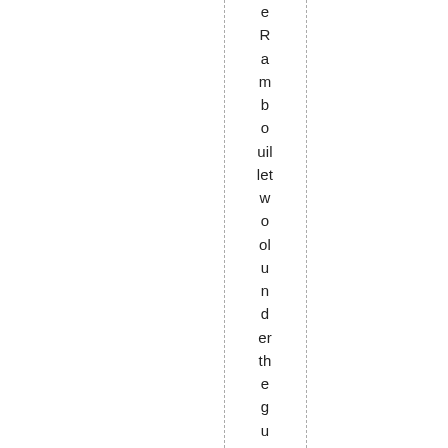eRambouillet wool under the guest bed. I don't really